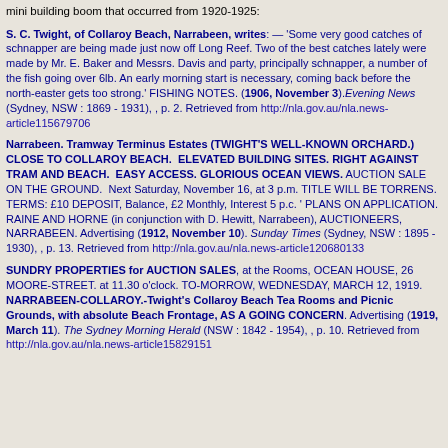mini building boom that occurred from 1920-1925:
S. C. Twight, of Collaroy Beach, Narrabeen, writes: — 'Some very good catches of schnapper are being made just now off Long Reef. Two of the best catches lately were made by Mr. E. Baker and Messrs. Davis and party, principally schnapper, a number of the fish going over 6lb. An early morning start is necessary, coming back before the north-easter gets too strong.' FISHING NOTES. (1906, November 3). Evening News (Sydney, NSW : 1869 - 1931), , p. 2. Retrieved from http://nla.gov.au/nla.news-article115679706
Narrabeen. Tramway Terminus Estates (TWIGHT'S WELL-KNOWN ORCHARD.) CLOSE TO COLLAROY BEACH. ELEVATED BUILDING SITES. RIGHT AGAINST TRAM AND BEACH. EASY ACCESS. GLORIOUS OCEAN VIEWS. AUCTION SALE ON THE GROUND. Next Saturday, November 16, at 3 p.m. TITLE WILL BE TORRENS. TERMS: £10 DEPOSIT, Balance, £2 Monthly, Interest 5 p.c. ' PLANS ON APPLICATION. RAINE AND HORNE (in conjunction with D. Hewitt, Narrabeen), AUCTIONEERS, NARRABEEN. Advertising (1912, November 10). Sunday Times (Sydney, NSW : 1895 - 1930), , p. 13. Retrieved from http://nla.gov.au/nla.news-article120680133
SUNDRY PROPERTIES for AUCTION SALES, at the Rooms, OCEAN HOUSE, 26 MOORE-STREET. at 11.30 o'clock. TO-MORROW, WEDNESDAY, MARCH 12, 1919. NARRABEEN-COLLAROY.-Twight's Collaroy Beach Tea Rooms and Picnic Grounds, with absolute Beach Frontage, AS A GOING CONCERN. Advertising (1919, March 11). The Sydney Morning Herald (NSW : 1842 - 1954), , p. 10. Retrieved from http://nla.gov.au/nla.news-article15829151